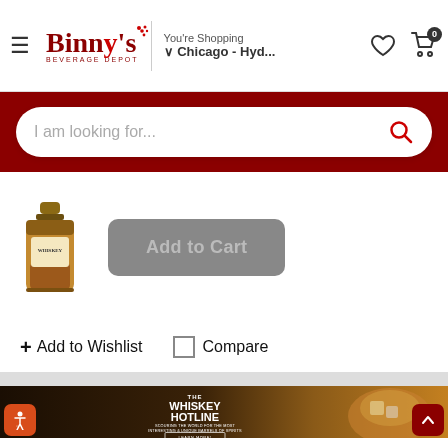Binny's Beverage Depot — You're Shopping Chicago - Hyd...
[Figure (screenshot): Search bar with placeholder text 'I am looking for...' and red magnifying glass icon on dark red background]
[Figure (photo): Partial product image of a whiskey bottle]
Add to Cart
+ Add to Wishlist
Compare
[Figure (photo): The Whiskey Hotline banner — 'SCOURING THE WORLD FOR THE MOST INTERESTING & UNIQUE BARRELS OF SPIRITS' with a whiskey glass with ice. LEARN MORE! button.]